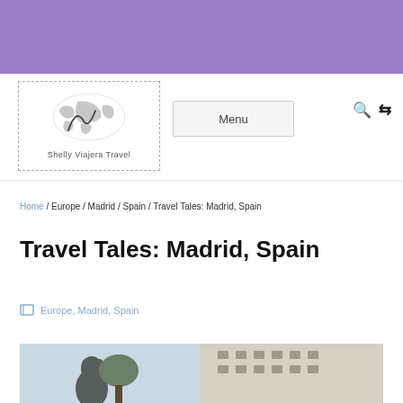[Figure (logo): Shelly Viajera Travel logo with world map silhouette and SV monogram, dashed border]
Menu
Home / Europe / Madrid / Spain / Travel Tales: Madrid, Spain
Travel Tales: Madrid, Spain
Europe, Madrid, Spain
[Figure (photo): Photo of Madrid with bear statue (Oso y Madroño) and ornate building facade in the background]